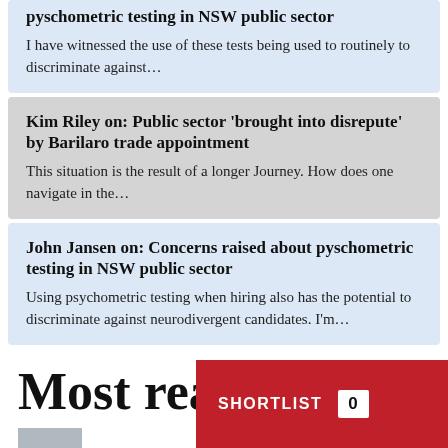... on: Concerns raised about pyschometric testing in NSW public sector — I have witnessed the use of these tests being used to routinely to discriminate against...
Kim Riley on: Public sector 'brought into disrepute' by Barilaro trade appointment — This situation is the result of a longer Journey. How does one navigate in the...
John Jansen on: Concerns raised about pyschometric testing in NSW public sector — Using psychometric testing when hiring also has the potential to discriminate against neurodivergent candidates. I'm...
Most read